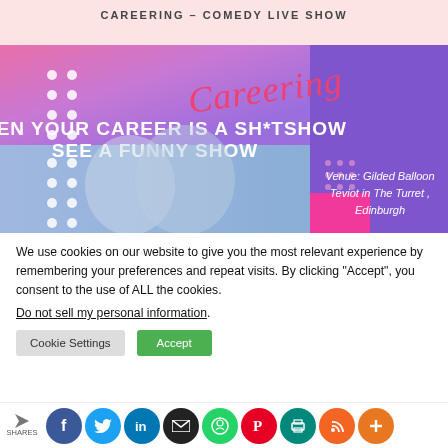CAREERING – COMEDY LIVE SHOW
[Figure (photo): Promotional banner for 'Careering' comedy live show. Pink-purple gradient background with white dots on left. Script text 'Careering' in pink, bold white text 'WHEN YOUR CAREER IS A SH*TSHOW SEE A FUNNY SHOW'. Purple block on right. Bottom half shows two people (comedians) on blue background. Text overlay: 'Venue: Gilded Balloon Teviot in The Turret, Edinburgh']
We use cookies on our website to give you the most relevant experience by remembering your preferences and repeat visits. By clicking “Accept”, you consent to the use of ALL the cookies.
Do not sell my personal information.